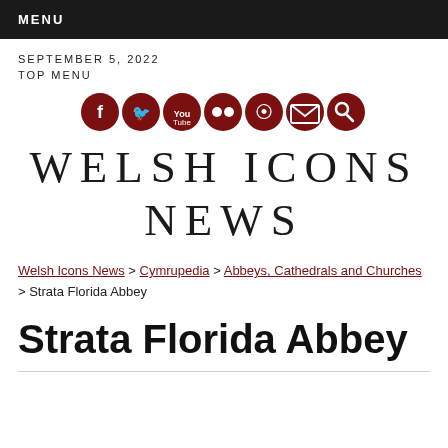MENU
SEPTEMBER 5, 2022
TOP MENU
[Figure (infographic): Row of 7 dark red circular social media icons: Facebook, Twitter, YouTube, Flickr, RSS, Email, Search]
WELSH ICONS NEWS
Welsh Icons News > Cymrupedia > Abbeys, Cathedrals and Churches > Strata Florida Abbey
Strata Florida Abbey